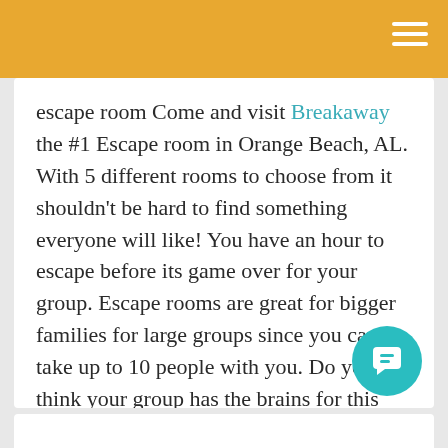escape room Come and visit Breakaway the #1 Escape room in Orange Beach, AL. With 5 different rooms to choose from it shouldn't be hard to find something everyone will like! You have an hour to escape before its game over for your group. Escape rooms are great for bigger families for large groups since you can take up to 10 people with you. Do you think your group has the brains for this immersive experience?